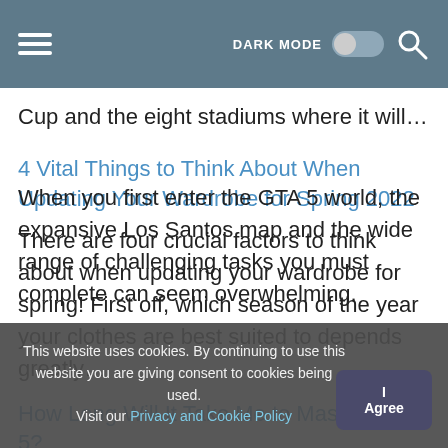DARK MODE [toggle] [search]
Cup and the eight stadiums where it will…
4 Vital Things to Think About When Updating Your Wardrobe for Spring 2022
There are four crucial factors to think about when updating your wardrobe for spring! First off, which season of the year your clothes are best suited to depends greatly…
How Long Will It Take Me to Master GTA 5?
When you first enter the GTA 5 world, the expansive Los Santos map and the wide range of challenging tasks you must complete can seem overwhelming.
This website uses cookies. By continuing to use this website you are giving consent to cookies being used. Visit our Privacy and Cookie Policy